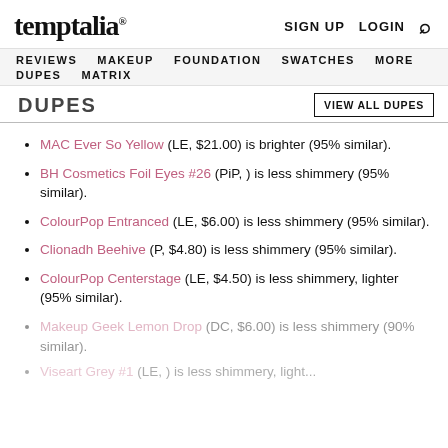temptalia® | SIGN UP  LOGIN  🔍
REVIEWS  MAKEUP  FOUNDATION  SWATCHES  MORE  DUPES  MATRIX
DUPES
MAC Ever So Yellow (LE, $21.00) is brighter (95% similar).
BH Cosmetics Foil Eyes #26 (PiP, ) is less shimmery (95% similar).
ColourPop Entranced (LE, $6.00) is less shimmery (95% similar).
Clionadh Beehive (P, $4.80) is less shimmery (95% similar).
ColourPop Centerstage (LE, $4.50) is less shimmery, lighter (95% similar).
Makeup Geek Lemon Drop (DC, $6.00) is less shimmery (90% similar).
Viseart Grey #1 (LE, ) is less shimmery, lighter...